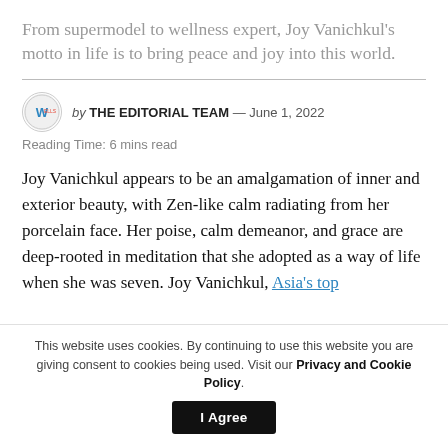From supermodel to wellness expert, Joy Vanichkul's motto in life is to bring peace and joy into this world.
by THE EDITORIAL TEAM — June 1, 2022
Reading Time: 6 mins read
Joy Vanichkul appears to be an amalgamation of inner and exterior beauty, with Zen-like calm radiating from her porcelain face. Her poise, calm demeanor, and grace are deep-rooted in meditation that she adopted as a way of life when she was seven. Joy Vanichkul, Asia's top
This website uses cookies. By continuing to use this website you are giving consent to cookies being used. Visit our Privacy and Cookie Policy.